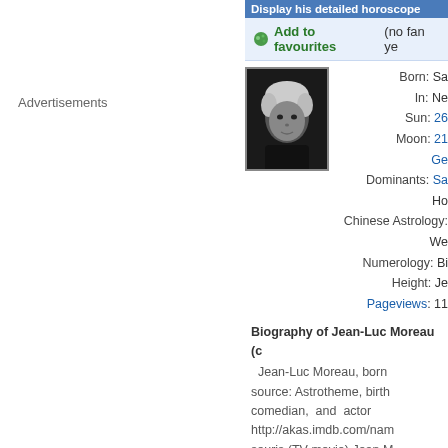Display his detailed horoscope
Add to favourites (no fan yet)
[Figure (photo): Black and white photo of Jean-Luc Moreau, a man with white hair wearing a dark shirt]
Born: Sa
In: Ne
Sun: 26
Moon: 21
Ge
Dominants: Sa
Ho
Chinese Astrology: We
Numerology: Bi
Height: Je
Pageviews: 11
Biography of Jean-Luc Moreau (c
Jean-Luc Moreau, born source: Astrotheme, birth comedian, and actor http://akas.imdb.com/nam souris (TV movie) Jean M Membre du Jury
Advertisements